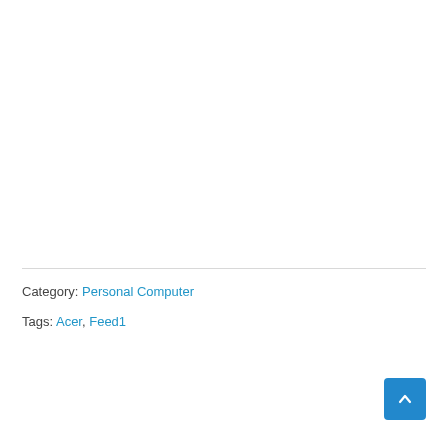Category: Personal Computer
Tags: Acer, Feed1